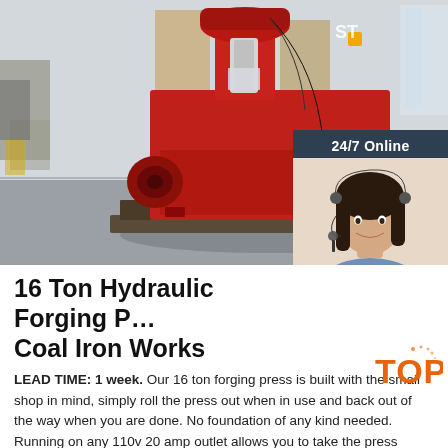[Figure (photo): Red 16 ton hydraulic forging press machine sitting in an industrial warehouse/factory floor. The machine is large, red-painted, with hydraulic components visible at the top. A partial overlay shows a customer service agent with headset and a '24/7 Online' label.]
16 Ton Hydraulic Forging Press Coal Iron Works
LEAD TIME: 1 week. Our 16 ton forging press is built with the small shop in mind, simply roll the press out when in use and back out of the way when you are done. No foundation of any kind needed. Running on any 110v 20 amp outlet allows you to take the press anywhere in the shop and even outside with an appropriately sized